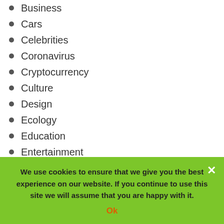Business
Cars
Celebrities
Coronavirus
Cryptocurrency
Culture
Design
Ecology
Education
Entertainment
Family
Fashion
Featured
Finance
Flowers
We use cookies to ensure that we give you the best experience on our website. If you continue to use this site we will assume that you are happy with it.
Ok